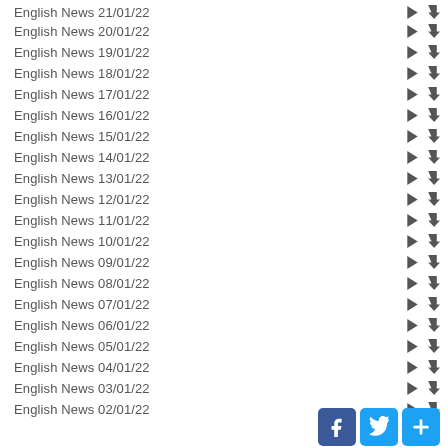English News 21/01/22
English News 20/01/22
English News 19/01/22
English News 18/01/22
English News 17/01/22
English News 16/01/22
English News 15/01/22
English News 14/01/22
English News 13/01/22
English News 12/01/22
English News 11/01/22
English News 10/01/22
English News 09/01/22
English News 08/01/22
English News 07/01/22
English News 06/01/22
English News 05/01/22
English News 04/01/22
English News 03/01/22
English News 02/01/22
[Figure (other): Social share buttons: Facebook, Twitter, and a plus/share button]